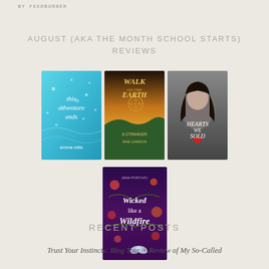BY FEEDBURNER
AUGUST (AKA THE MONTH SCHOOL STARTS) REVIEWS
[Figure (illustration): Three book covers in a row: 'This Adventure Ends' by Emma Mills (blue/teal cover), 'Walk on Earth a Stranger' by Rae Carson (sunset/landscape cover), and 'Hearts We Sold' (woman's face cover). Below: one book cover centered: 'Wicked Like a Wildfire' by Jana Popovic (purple floral cover).]
RECENT POSTS
Trust Your Instincts: Blog Tour + Review of My So-Called